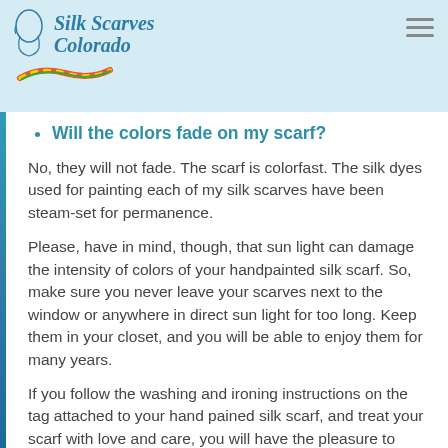Silk Scarves Colorado
Will the colors fade on my scarf?
No, they will not fade. The scarf is colorfast. The silk dyes used for painting each of my silk scarves have been steam-set for permanence.
Please, have in mind, though, that sun light can damage the intensity of colors of your handpainted silk scarf. So, make sure you never leave your scarves next to the window or anywhere in direct sun light for too long. Keep them in your closet, and you will be able to enjoy them for many years.
If you follow the washing and ironing instructions on the tag attached to your hand pained silk scarf, and treat your scarf with love and care, you will have the pleasure to wear it practically forever.